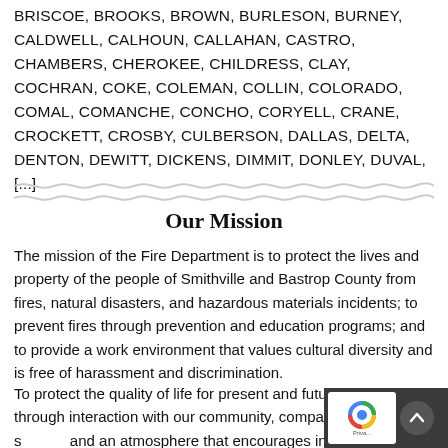BRISCOE, BROOKS, BROWN, BURLESON, BURNEY, CALDWELL, CALHOUN, CALLAHAN, CASTRO, CHAMBERS, CHEROKEE, CHILDRESS, CLAY, COCHRAN, COKE, COLEMAN, COLLIN, COLORADO, COMAL, COMANCHE, CONCHO, CORYELL, CRANE, CROCKETT, CROSBY, CULBERSON, DALLAS, DELTA, DENTON, DEWITT, DICKENS, DIMMIT, DONLEY, DUVAL, [...]
[Figure (other): Two wavy decorative divider lines]
Our Mission
The mission of the Fire Department is to protect the lives and property of the people of Smithville and Bastrop County from fires, natural disasters, and hazardous materials incidents; to prevent fires through prevention and education programs; and to provide a work environment that values cultural diversity and is free of harassment and discrimination.
To protect the quality of life for present and future generations through interaction with our community, compassionate service, and an atmosphere that encourages innovation, professionalism and diversity.